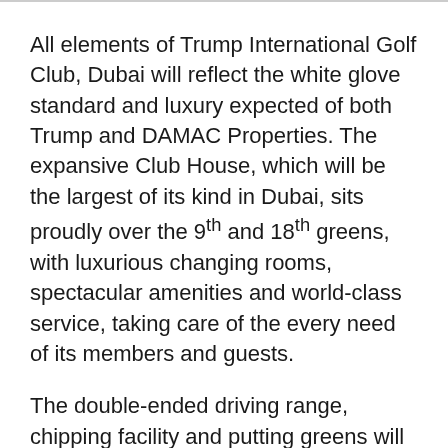All elements of Trump International Golf Club, Dubai will reflect the white glove standard and luxury expected of both Trump and DAMAC Properties. The expansive Club House, which will be the largest of its kind in Dubai, sits proudly over the 9th and 18th greens, with luxurious changing rooms, spectacular amenities and world-class service, taking care of the every need of its members and guests.
The double-ended driving range, chipping facility and putting greens will emulate the undulations of the course to accurately reflect the challenge which awaits on the full 18 holes. The development also includes a high-